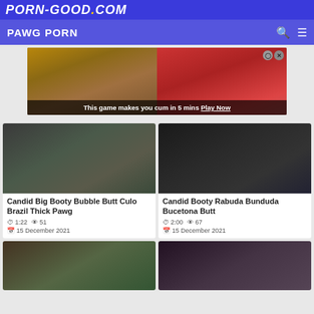PORN-GOOD.COM
PAWG PORN
[Figure (other): Advertisement banner: adult game ad with text 'This game makes you cum in 5 mins Play Now']
[Figure (photo): Candid video thumbnail showing person in gray leggings from behind]
Candid Big Booty Bubble Butt Culo Brazil Thick Pawg
1:22  51
15 December 2021
[Figure (photo): Candid video thumbnail showing person in black leggings from behind in a store]
Candid Booty Rabuda Bunduda Bucetona Butt
2:00  67
15 December 2021
[Figure (photo): Partially visible video thumbnail bottom left]
[Figure (photo): Partially visible video thumbnail bottom right]